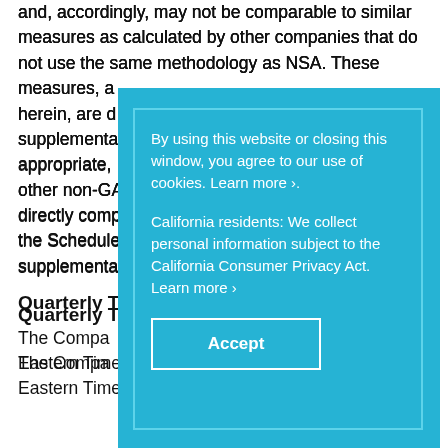and, accordingly, may not be comparable to similar measures as calculated by other companies that do not use the same methodology as NSA. These measures, a... herein, are d... supplementa... appropriate,... other non-GA... directly comp... the Schedule... supplementa...
Quarterly To...
The Compa... Eastern Time on Monday, February 26, 2018 to...
[Figure (screenshot): Cookie consent overlay dialog with cyan/light blue background. Contains text: 'By using this website or closing this window, you agree to our use of cookies. Learn more >.' and 'California residents: We collect personal information subject to the California Consumer Privacy Act. Learn more >' with an Accept button.]